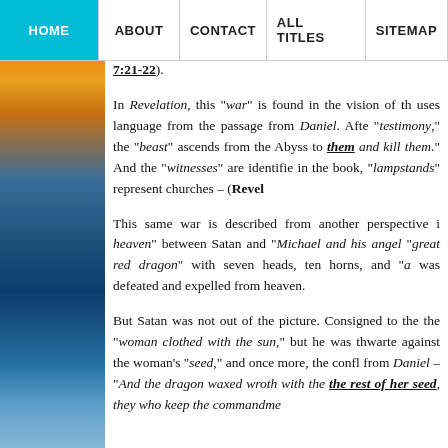HOME | ABOUT | CONTACT | ALL TITLES | SITEMAP
7:21-22).
In Revelation, this "war" is found in the vision of th... uses language from the passage from Daniel. Afte... "testimony," the "beast" ascends from the Abyss to... them and kill them." And the "witnesses" are identifie... in the book, "lampstands" represent churches – (Revel...
This same war is described from another perspective i... heaven" between Satan and "Michael and his angel... "great red dragon" with seven heads, ten horns, and "a... was defeated and expelled from heaven.
But Satan was not out of the picture. Consigned to the... the "woman clothed with the sun," but he was thwarte... against the woman's "seed," and once more, the confl... from Daniel – "And the dragon waxed wroth with the... the rest of her seed, they who keep the commandme...